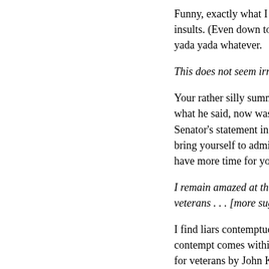Funny, exactly what I think ab... insults. (Even down to the dis... yada yada whatever.
This does not seem irrational...
Your rather silly summary cer... what he said, now was it? An... Senator's statement in front o... bring yourself to admit the nu... have more time for your opini...
I remain amazed at the conte... veterans . . . [more suggested...
I find liars contemptuous. An... contempt comes within an or... for veterans by John Kerry.
I feel that you ignore the mea... you can apply to the edges .
Gee, I wonder why? If you co... without insulting me, I might n... for you: when you call everyo... me.) Further, after spending t...